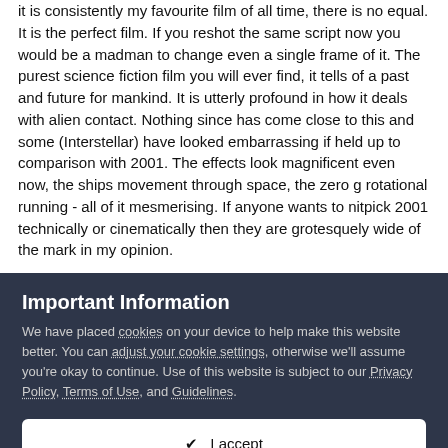it is consistently my favourite film of all time, there is no equal. It is the perfect film. If you reshot the same script now you would be a madman to change even a single frame of it. The purest science fiction film you will ever find, it tells of a past and future for mankind. It is utterly profound in how it deals with alien contact. Nothing since has come close to this and some (Interstellar) have looked embarrassing if held up to comparison with 2001. The effects look magnificent even now, the ships movement through space, the zero g rotational running - all of it mesmerising. If anyone wants to nitpick 2001 technically or cinematically then they are grotesquely wide of the mark in my opinion.
Important Information
We have placed cookies on your device to help make this website better. You can adjust your cookie settings, otherwise we'll assume you're okay to continue. Use of this website is subject to our Privacy Policy, Terms of Use, and Guidelines.
✔ I accept